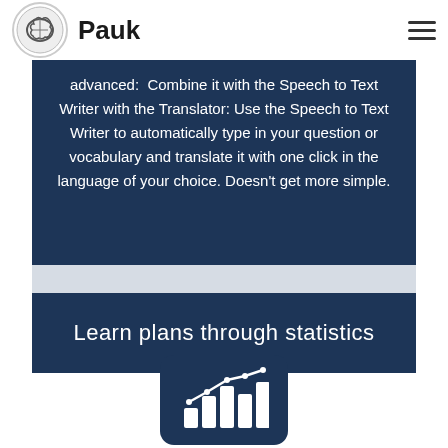Pauk
advanced: Combine it with the Speech to Text Writer with the Translator: Use the Speech to Text Writer to automatically type in your question or vocabulary and translate it with one click in the language of your choice. Doesn't get more simple.
Learn plans through statistics
[Figure (illustration): Dark blue rounded square icon with a bar chart and an upward trending line graph in white]